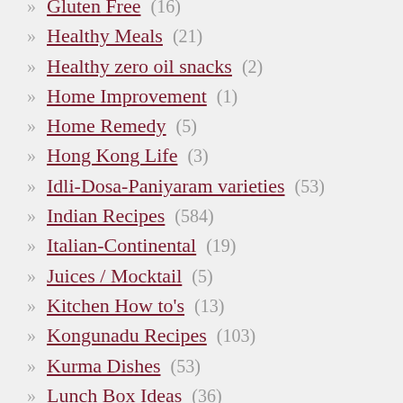Gluten Free (16)
Healthy Meals (21)
Healthy zero oil snacks (2)
Home Improvement (1)
Home Remedy (5)
Hong Kong Life (3)
Idli-Dosa-Paniyaram varieties (53)
Indian Recipes (584)
Italian-Continental (19)
Juices / Mocktail (5)
Kitchen How to's (13)
Kongunadu Recipes (103)
Kurma Dishes (53)
Lunch Box Ideas (36)